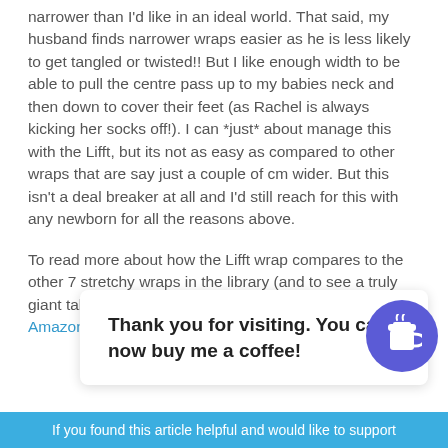narrower than I'd like in an ideal world.  That said, my husband finds narrower wraps easier as he is less likely to get tangled or twisted!!  But I like enough width to be able to pull the centre pass up to my babies neck and then down to cover their feet (as Rachel is always kicking her socks off!).  I can *just* about manage this with the Lifft, but its not as easy as compared to other wraps that are say just a couple of cm wider.  But this isn't a deal breaker at all and I'd still reach for this with any newborn for all the reasons above.
To read more about how the Lifft wrap compares to the other 7 stretchy wraps in the library (and to see a truly giant table) please click here.  You can find these on Amazon h...
Thank you for visiting. You can now buy me a coffee!
If you found this article helpful and would like to support